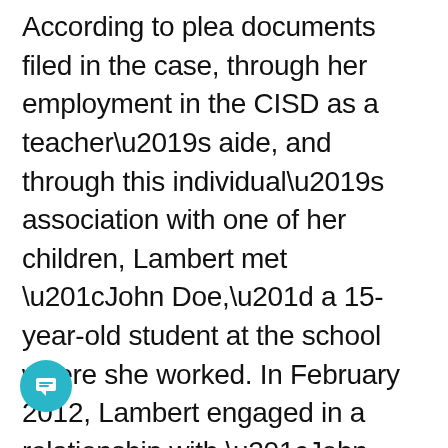According to plea documents filed in the case, through her employment in the CISD as a teacher's aide, and through this individual's association with one of her children, Lambert met “John Doe,” a 15-year-old student at the school where she worked. In February 2012, Lambert engaged in a relationship with “John Doe” that became sexual in nature. On February 2012, Lambert traveled to Altus, Oklahoma, for the purpose, among